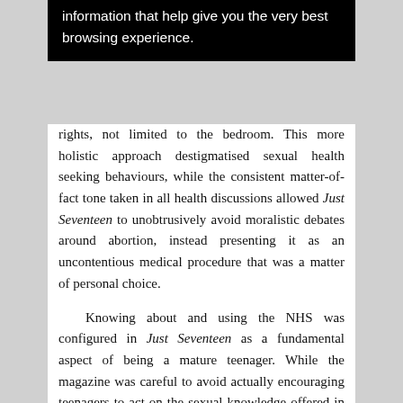[Figure (screenshot): Black browser cookie/notification box with white text reading 'information that help give you the very best browsing experience.']
rights, not limited to the bedroom. This more holistic approach destigmatised sexual health seeking behaviours, while the consistent matter-of-fact tone taken in all health discussions allowed Just Seventeen to unobtrusively avoid moralistic debates around abortion, instead presenting it as an uncontentious medical procedure that was a matter of personal choice.

Knowing about and using the NHS was configured in Just Seventeen as a fundamental aspect of being a mature teenager. While the magazine was careful to avoid actually encouraging teenagers to act on the sexual knowledge offered in its pages, discussions of the NHS tended to be